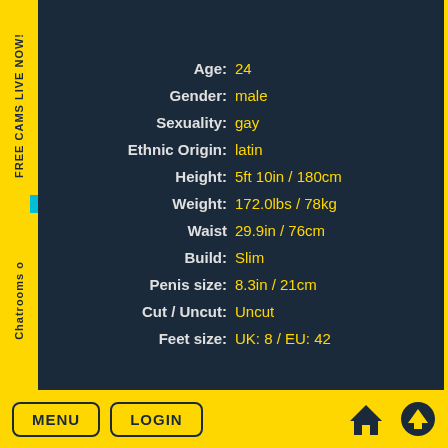| Attribute | Value |
| --- | --- |
| Age: | 24 |
| Gender: | male |
| Sexuality: | gay |
| Ethnic Origin: | latin |
| Height: | 5ft 10in / 180cm |
| Weight: | 172.0lbs / 78kg |
| Waist | 29.9in / 76cm |
| Build: | Slim |
| Penis size: | 8.3in / 21cm |
| Cut / Uncut: | Uncut |
| Feet size: | UK: 8 / EU: 42 |
FREE CAMS LIVE NOW!
Chatrooms o
MENU  LOGIN